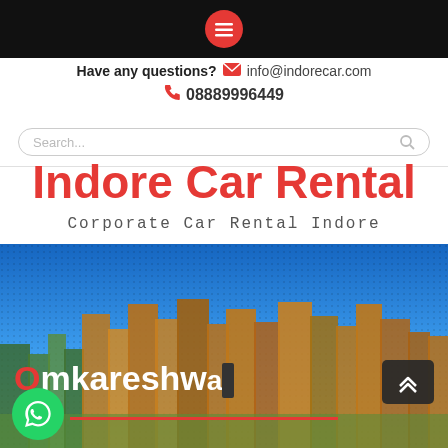[Figure (logo): Black top navigation bar with red circular hamburger/menu icon in the center]
Have any questions? info@indorecar.com
08889996449
Search...
Indore Car Rental
Corporate Car Rental Indore
[Figure (photo): City skyline hero image with blue sky and buildings. Overlaid text reads 'Omkareshwar' with the O in red. A red underline beneath the text, a dark scroll-to-top button on the right, and a WhatsApp green circle button on the bottom left.]